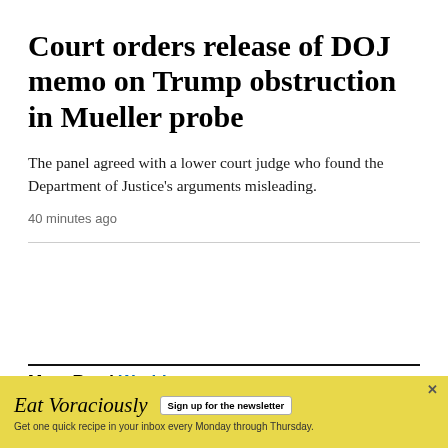Court orders release of DOJ memo on Trump obstruction in Mueller probe
The panel agreed with a lower court judge who found the Department of Justice's arguments misleading.
40 minutes ago
Most Read World
[Figure (other): Advertisement banner: Eat Voraciously newsletter sign-up with yellow background. Text reads: 'Eat Voraciously  Sign up for the newsletter  Get one quick recipe in your inbox every Monday through Thursday.']